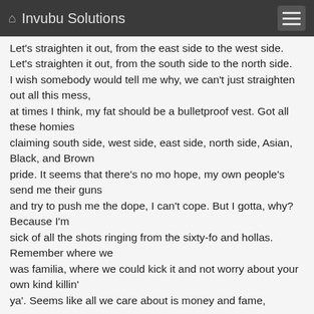Invubu Solutions
Let's straighten it out, from the east side to the west side. Let's straighten it out, from the south side to the north side.
I wish somebody would tell me why, we can't just straighten out all this mess,
at times I think, my fat should be a bulletproof vest. Got all these homies
claiming south side, west side, east side, north side, Asian, Black, and Brown
pride. It seems that there's no mo hope, my own people's send me their guns
and try to push me the dope, I can't cope. But I gotta, why? Because I'm
sick of all the shots ringing from the sixty-fo and hollas. Remember where we
was familia, where we could kick it and not worry about your own kind killin'
ya'. Seems like all we care about is money and fame,